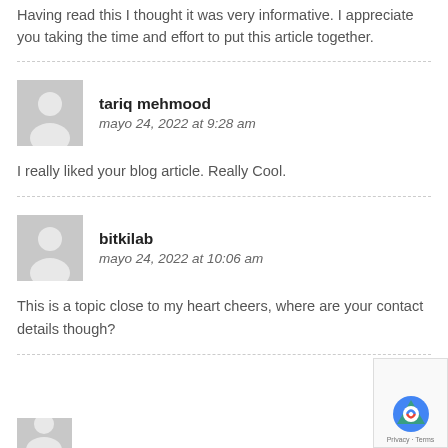Having read this I thought it was very informative. I appreciate you taking the time and effort to put this article together.
tariq mehmood
mayo 24, 2022 at 9:28 am
I really liked your blog article. Really Cool.
bitkilab
mayo 24, 2022 at 10:06 am
This is a topic close to my heart cheers, where are your contact details though?